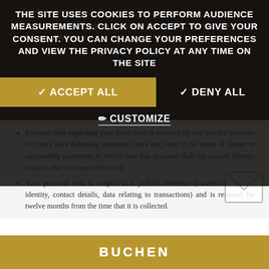THE SITE USES COOKIES TO PERFORM AUDIENCE MEASUREMENTS. CLICK ON ACCEPT TO GIVE YOUR CONSENT. YOU CAN CHANGE YOUR PREFERENCES AND VIEW THE PRIVACY POLICY AT ANY TIME ON THE SITE
✓ ACCEPT ALL
✓ DENY ALL
✏ CUSTOMIZE
end of the business relationship.
Documents and accounting documents are retained for ten years for the purpose of accounting
Personal data regarding your bank card is retained by our service provider for thirty days following customer check out, even in the event of claims or outstanding payments; in which case this duration shall not exceed thirteen months after customer check out;
Your personal data is subject to a judicial retention (connection details, identity, contact details, data relating to transactions) and is retained for twelve months from the time that it is collected.
BUCHEN